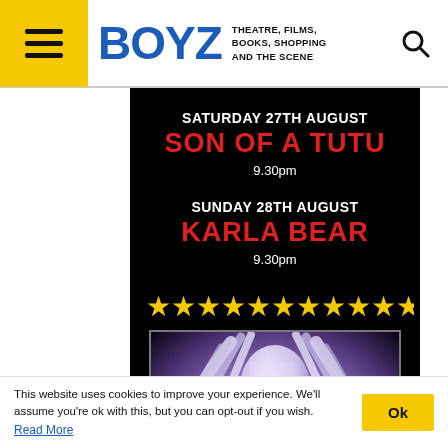BOYZ — THEATRE, FILMS, BOOKS, SHOPPING AND THE SCENE
SATURDAY 27TH AUGUST
SON OF A TUTU
9.30pm
SUNDAY 28TH AUGUST
KARLA BEAR
9.30pm
[Figure (illustration): Row of yellow stars decoration]
[Figure (photo): Purple-tinted anime/illustration style image showing a character with flowing white/silver hair and a white outfit against a dark background]
This website uses cookies to improve your experience. We'll assume you're ok with this, but you can opt-out if you wish. Read More